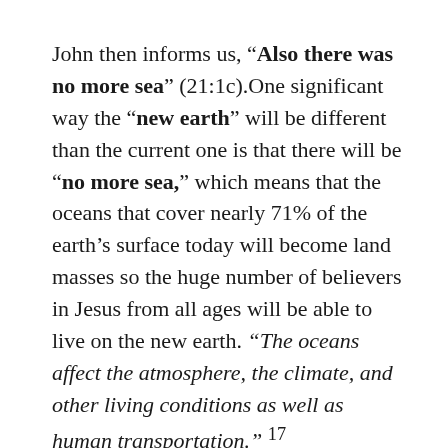John then informs us, “Also there was no more sea” (21:1c).One significant way the “new earth” will be different than the current one is that there will be “no more sea,” which means that the oceans that cover nearly 71% of the earth’s surface today will become land masses so the huge number of believers in Jesus from all ages will be able to live on the new earth. “The oceans affect the atmosphere, the climate, and other living conditions as well as human transportation.” 17
Dr. Jeremiah writes, “The ecology of the new heaven and earth will be entirely different than that of the earth we live on today. And there will be